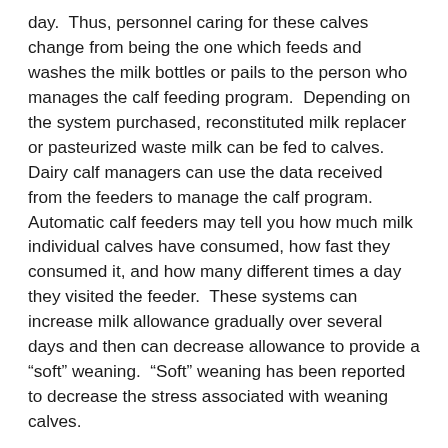day.  Thus, personnel caring for these calves change from being the one which feeds and washes the milk bottles or pails to the person who manages the calf feeding program.  Depending on the system purchased, reconstituted milk replacer or pasteurized waste milk can be fed to calves.  Dairy calf managers can use the data received from the feeders to manage the calf program.  Automatic calf feeders may tell you how much milk individual calves have consumed, how fast they consumed it, and how many different times a day they visited the feeder.  These systems can increase milk allowance gradually over several days and then can decrease allowance to provide a “soft” weaning.  “Soft” weaning has been reported to decrease the stress associated with weaning calves.
Here is some advice for farmers considering incorporating an automatic calf feeder(s) into their calf raising program:
Aggressive colostrum management systems are critical for successful adaptation to automatic calf